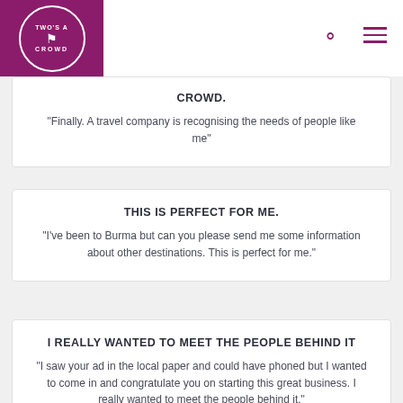[Figure (logo): Two's A Crowd travel company logo — circular white logo on purple/magenta square background with figure and text]
CROWD.
"Finally. A travel company is recognising the needs of people like me"
THIS IS PERFECT FOR ME.
"I've been to Burma but can you please send me some information about other destinations. This is perfect for me."
I REALLY WANTED TO MEET THE PEOPLE BEHIND IT
"I saw your ad in the local paper and could have phoned but I wanted to come in and congratulate you on starting this great business. I really wanted to meet the people behind it."